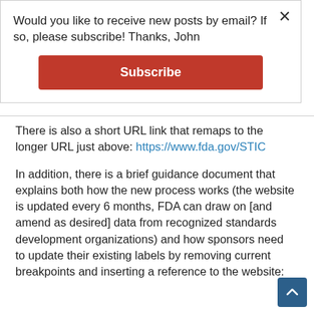Would you like to receive new posts by email? If so, please subscribe! Thanks, John
Subscribe
There is also a short URL link that remaps to the longer URL just above: https://www.fda.gov/STIC
In addition, there is a brief guidance document that explains both how the new process works (the website is updated every 6 months, FDA can draw on [and amend as desired] data from recognized standards development organizations) and how sponsors need to update their existing labels by removing current breakpoints and inserting a reference to the website: